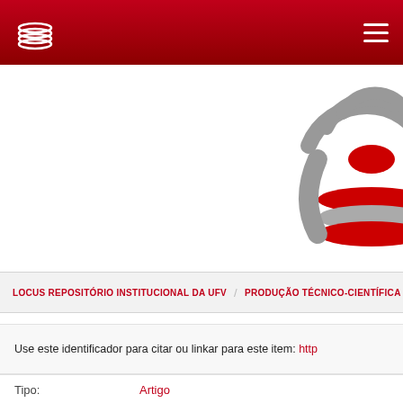LOCUS REPOSITÓRIO INSTITUCIONAL DA UFV navigation bar with logo and hamburger menu
[Figure (logo): Large LOCUS repository circular logo in grey and red, positioned upper right]
LOCUS REPOSITÓRIO INSTITUCIONAL DA UFV / PRODUÇÃO TÉCNICO-CIENTÍFICA
Use este identificador para citar ou linkar para este item: http
| Field | Value |
| --- | --- |
| Tipo: | Artigo |
| Título: | Rheological and physicochemical studies on emulsions formular |